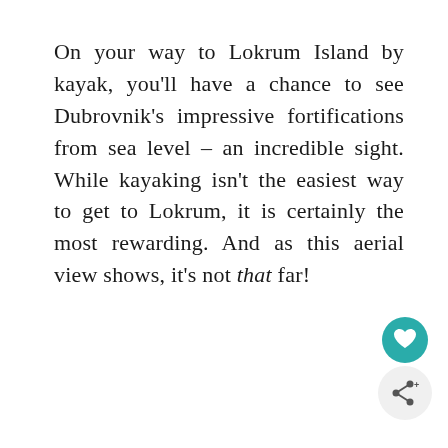On your way to Lokrum Island by kayak, you'll have a chance to see Dubrovnik's impressive fortifications from sea level – an incredible sight. While kayaking isn't the easiest way to get to Lokrum, it is certainly the most rewarding. And as this aerial view shows, it's not that far!